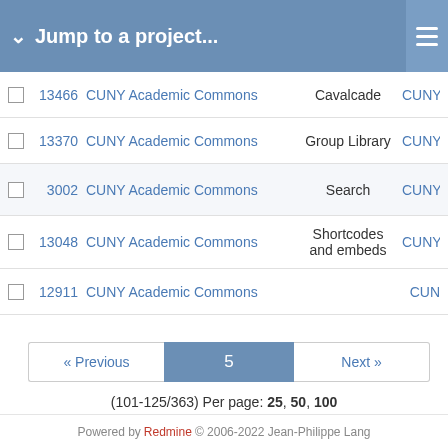Jump to a project...
|  | ID | Project | Category | Tracker |
| --- | --- | --- | --- | --- |
|  | 13466 | CUNY Academic Commons | Cavalcade | CUNY |
|  | 13370 | CUNY Academic Commons | Group Library | CUNY |
|  | 3002 | CUNY Academic Commons | Search | CUNY |
|  | 13048 | CUNY Academic Commons | Shortcodes and embeds | CUNY |
|  | 12911 | CUNY Academic Commons |  | CUN |
« Previous  5  Next »
(101-125/363) Per page: 25, 50, 100
Also available in: Atom | CSV | PDF
Powered by Redmine © 2006-2022 Jean-Philippe Lang